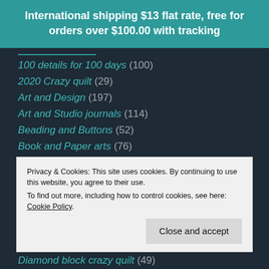International shipping $13 flat rate, free for orders over $100.00 with tracking
100 details for 100 days (100)
2020 Crazy quilt (29)
Art and Design (197)
Art and Studio journals (114)
Beading and Buttons (52)
Book and Paper arts (76)
Books (69)
Challenges (135)
Privacy & Cookies: This site uses cookies. By continuing to use this website, you agree to their use. To find out more, including how to control cookies, see here: Cookie Policy
Diamond block crazy quilt (49)